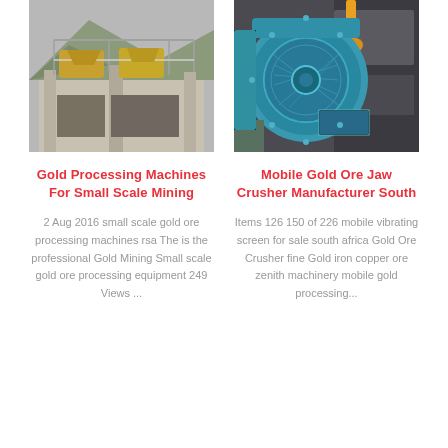[Figure (photo): Industrial gold processing facility with large machinery and concrete structure on a mountain backdrop]
[Figure (photo): Close-up of a large blue electric motor/pump used in mining ore crushing equipment]
Gold Processing Machines For Small Scale Mining
Mobile Gold Ore Jaw Crusher Manufacturer South
2 Aug 2016 small scale gold ore processing machines rsa The is the professional Gold Mining Small scale gold ore processing equipment 249 Views ...
Items 126 150 of 226 mobile vibrating screen for sale south africa Gold Ore Crusher fine Gold iron copper ore zenith machinery mobile gold processing...